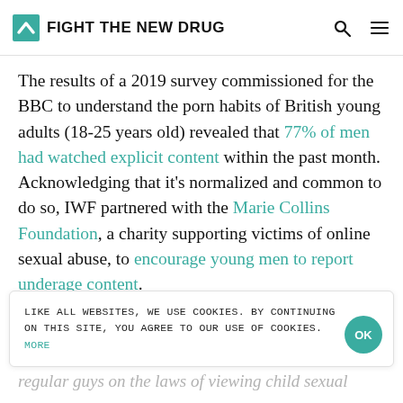FIGHT THE NEW DRUG
The results of a 2019 survey commissioned for the BBC to understand the porn habits of British young adults (18-25 years old) revealed that 77% of men had watched explicit content within the past month. Acknowledging that it’s normalized and common to do so, IWF partnered with the Marie Collins Foundation, a charity supporting victims of online sexual abuse, to encourage young men to report underage content.
LIKE ALL WEBSITES, WE USE COOKIES. BY CONTINUING ON THIS SITE, YOU AGREE TO OUR USE OF COOKIES. MORE